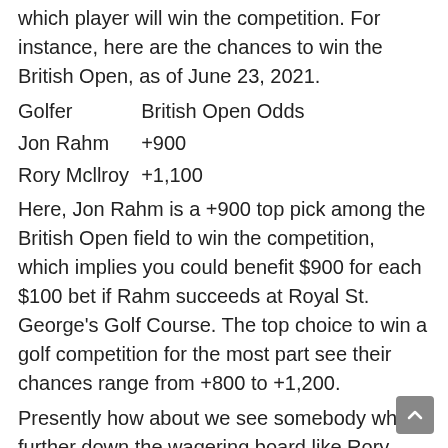which player will win the competition. For instance, here are the chances to win the British Open, as of June 23, 2021.
| Golfer | British Open Odds |
| --- | --- |
| Jon Rahm | +900 |
| Rory Mcllroy | +1,100 |
Here, Jon Rahm is a +900 top pick among the British Open field to win the competition, which implies you could benefit $900 for each $100 bet if Rahm succeeds at Royal St. George's Golf Course. The top choice to win a golf competition for the most part see their chances range from +800 to +1,200.
Presently how about we see somebody who's further down the wagering board like Rory Mcllroy. With chances of +1,100, a $100 bet would benefit $1,100 should Morikawa win his subsequent major.